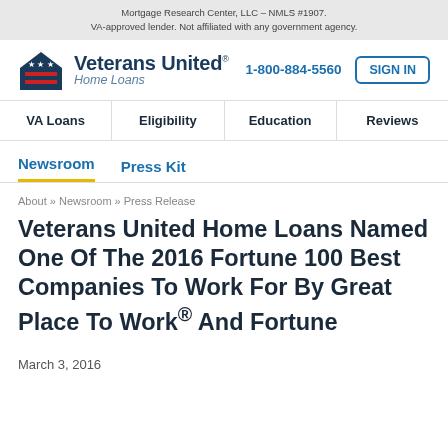Mortgage Research Center, LLC – NMLS #1907. VA-approved lender. Not affiliated with any government agency.
[Figure (logo): Veterans United Home Loans logo with house icon featuring stars and red stripes, alongside brand name text]
1-800-884-5560
SIGN IN
VA Loans | Eligibility | Education | Reviews
Newsroom | Press Kit
About » Newsroom » Press Release
Veterans United Home Loans Named One Of The 2016 Fortune 100 Best Companies To Work For By Great Place To Work® And Fortune
March 3, 2016